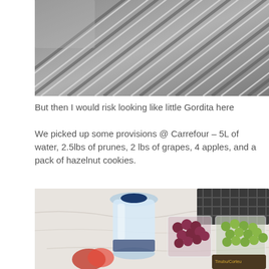[Figure (photo): Top-down view of a metal grate or grid surface with diagonal lines, photographed at an angle]
But then I would risk looking like little Gordita here
We picked up some provisions @ Carrefour – 5L of water, 2.5lbs of prunes, 2 lbs of grapes, 4 apples, and a pack of hazelnut cookies.
[Figure (photo): Photo of groceries on a marble countertop: a large 5L water bottle, two containers of grapes (red and green), and some other items including what appears to be a hazelnut cookie package]